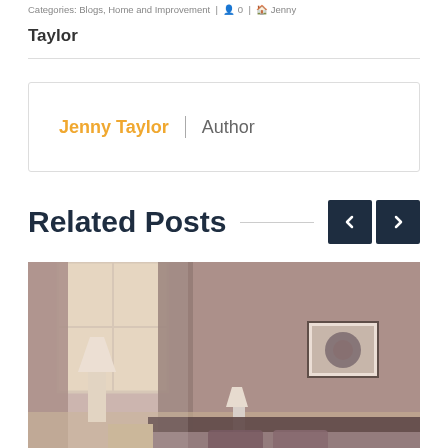Categories: Blogs, Home and Improvement | 0 | Jenny
Taylor
Jenny Taylor | Author
Related Posts
[Figure (photo): A bedroom interior with warm purple/mauve tones, curtains by a bright window, a lamp, a wall painting, and a bed with purple pillows. Vintage-style filtered photograph.]